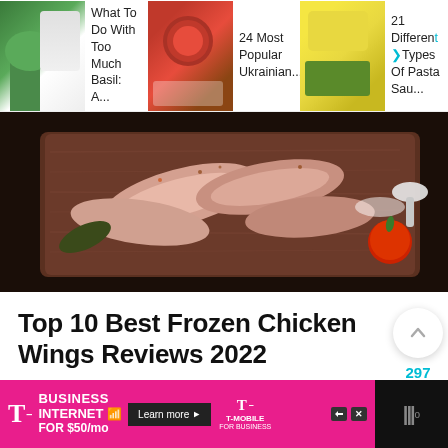What To Do With Too Much Basil: A... | 24 Most Popular Ukrainian... | 21 Different Types Of Pasta Sau...
[Figure (photo): Hero image of raw chicken wings on a wooden cutting board with spices and tomatoes]
Top 10 Best Frozen Chicken Wings Reviews 2022
It may sound easy, but picking the best frozen chicken wings is more complicated than you…
T-Mobile BUSINESS INTERNET FOR $50/mo | Learn more | T-Mobile for Business